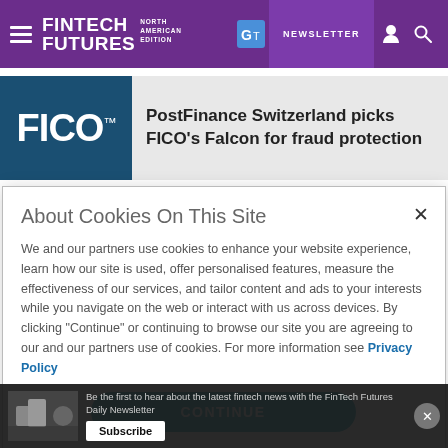FINTECH FUTURES NORTH AMERICAN EDITION — NEWSLETTER
[Figure (logo): FICO logo in dark blue box alongside ad headline: PostFinance Switzerland picks FICO's Falcon for fraud protection]
About Cookies On This Site
We and our partners use cookies to enhance your website experience, learn how our site is used, offer personalised features, measure the effectiveness of our services, and tailor content and ads to your interests while you navigate on the web or interact with us across devices. By clicking "Continue" or continuing to browse our site you are agreeing to our and our partners use of cookies. For more information see Privacy Policy
CONTINUE
Be the first to hear about the latest fintech news with the FinTech Futures Daily Newsletter
Subscribe